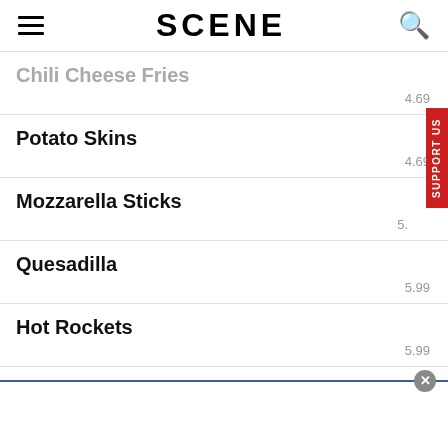SCENE
Chili Cheese Fries
Potato Skins
Mozzarella Sticks
Quesadilla
Hot Rockets
Shrimp Basket